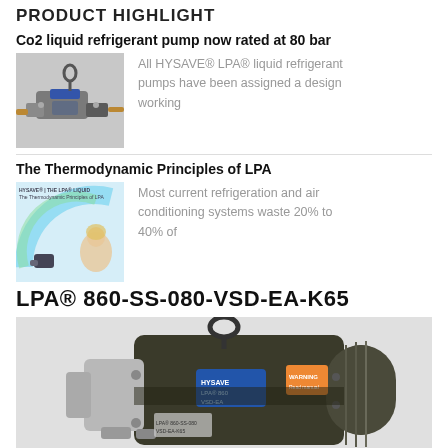PRODUCT HIGHLIGHT
Co2 liquid refrigerant pump now rated at 80 bar
[Figure (photo): Photo of a CO2 liquid refrigerant pump, silver and black metal pump unit with copper pipe fittings]
All HYSAVE® LPA® liquid refrigerant pumps have been assigned a design working
The Thermodynamic Principles of LPA
[Figure (photo): Brochure cover for HYSAVE The Thermodynamic Principles of LPA, showing a woman and a circular design element]
Most current refrigeration and air conditioning systems waste 20% to 40% of
LPA® 860-SS-080-VSD-EA-K65
[Figure (photo): Large photo of LPA pump unit model 860-SS-080-VSD-EA-K65, dark green/black motor with blue label and orange sticker, stainless steel pump head, hanging hook on top]